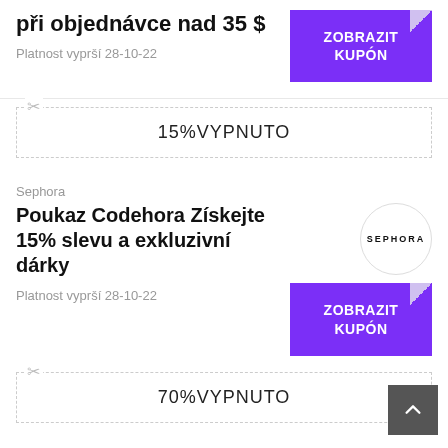při objednávce nad 35 $
Platnost vyprší 28-10-22
15%VYPNUTO
Sephora
Poukaz Codehora Získejte 15% slevu a exkluzivní dárky
Platnost vyprší 28-10-22
70%VYPNUTO